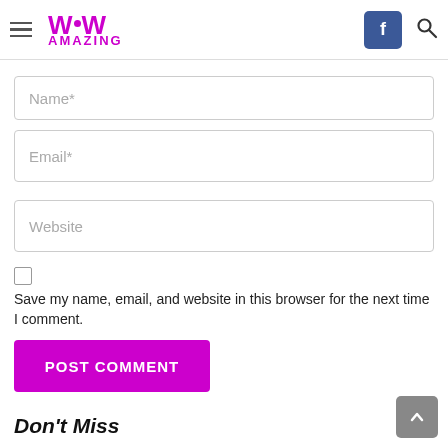[Figure (logo): WoW Amazing website logo with hamburger menu, Facebook button and search icon]
Name*
Email*
Website
Save my name, email, and website in this browser for the next time I comment.
POST COMMENT
Don't Miss